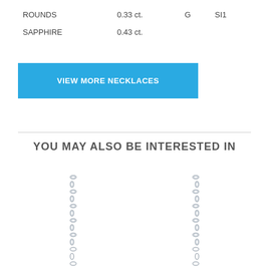| ROUNDS | 0.33 ct. | G | SI1 |
| SAPPHIRE | 0.43 ct. |  |  |
VIEW MORE NECKLACES
YOU MAY ALSO BE INTERESTED IN
[Figure (photo): Two necklace chain images shown side by side, partially cropped, showing silver chain links hanging vertically]